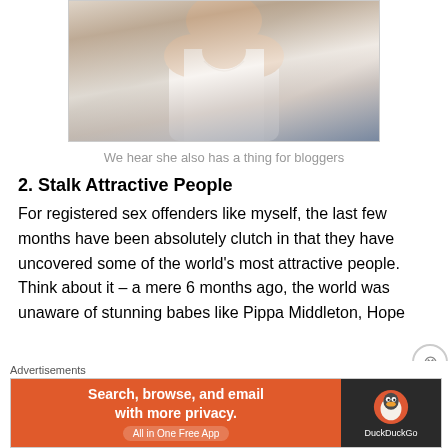[Figure (photo): Photo of a woman in a white dress with a pearl necklace, cropped to show shoulders and chest area]
We hear she also has a thing for bloggers
2. Stalk Attractive People
For registered sex offenders like myself, the last few months have been absolutely clutch in that they have uncovered some of the world's most attractive people. Think about it – a mere 6 months ago, the world was unaware of stunning babes like Pippa Middleton, Hope
[Figure (screenshot): DuckDuckGo advertisement banner: 'Search, browse, and email with more privacy. All in One Free App' with DuckDuckGo logo on dark right panel]